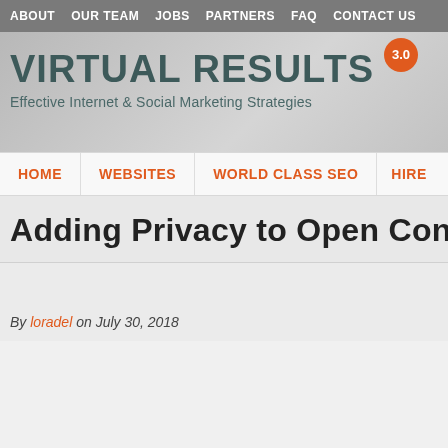ABOUT  OUR TEAM  JOBS  PARTNERS  FAQ  CONTACT US
[Figure (logo): Virtual Results 3.0 logo with tagline: Effective Internet & Social Marketing Strategies]
HOME  WEBSITES  WORLD CLASS SEO  HIRE
Adding Privacy to Open Cond
By loradel on July 30, 2018